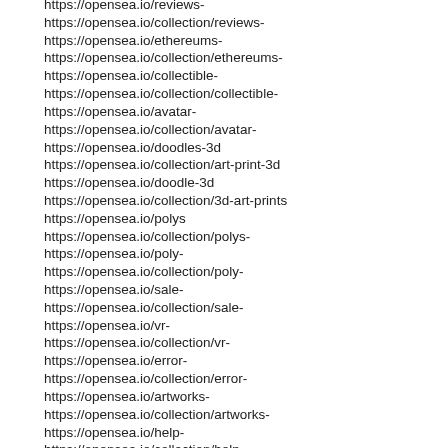https://opensea.io/reviews-
https://opensea.io/collection/reviews-
https://opensea.io/ethereums-
https://opensea.io/collection/ethereums-
https://opensea.io/collectible-
https://opensea.io/collection/collectible-
https://opensea.io/avatar-
https://opensea.io/collection/avatar-
https://opensea.io/doodles-3d
https://opensea.io/collection/art-print-3d
https://opensea.io/doodle-3d
https://opensea.io/collection/3d-art-prints
https://opensea.io/polys
https://opensea.io/collection/polys-
https://opensea.io/poly-
https://opensea.io/collection/poly-
https://opensea.io/sale-
https://opensea.io/collection/sale-
https://opensea.io/vr-
https://opensea.io/collection/vr-
https://opensea.io/error-
https://opensea.io/collection/error-
https://opensea.io/artworks-
https://opensea.io/collection/artworks-
https://opensea.io/help-
https://opensea.io/collection/help-